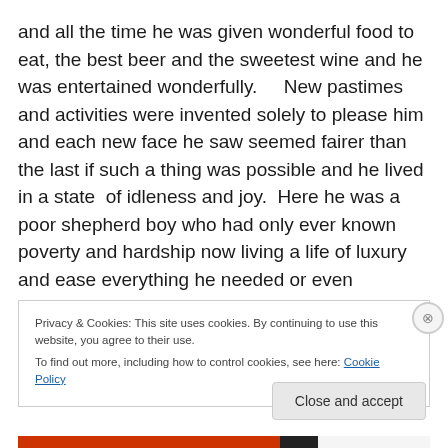and all the time he was given wonderful food to eat, the best beer and the sweetest wine and he was entertained wonderfully.    New pastimes and activities were invented solely to please him and each new face he saw seemed fairer than the last if such a thing was possible and he lived in a state  of idleness and joy.  Here he was a poor shepherd boy who had only ever known poverty and hardship now living a life of luxury and ease everything he needed or even dreamed of was at his beck and call, yet something still gnawed at him.
Privacy & Cookies: This site uses cookies. By continuing to use this website, you agree to their use.
To find out more, including how to control cookies, see here: Cookie Policy
Close and accept